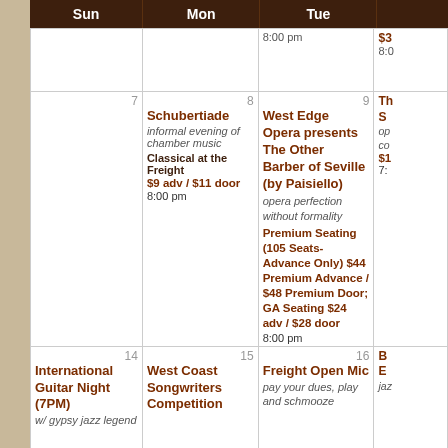| Sun | Mon | Tue |  |
| --- | --- | --- | --- |
|  |  | 8:00 pm | $3
8:0 |
| 7 | 8 Schubertiade
informal evening of chamber music
Classical at the Freight
$9 adv / $11 door
8:00 pm | 9 West Edge Opera presents The Other Barber of Seville (by Paisiello)
opera perfection without formality
Premium Seating (105 Seats-Advance Only) $44 Premium Advance / $48 Premium Door; GA Seating $24 adv / $28 door
8:00 pm | Th S
op co
$1
7: |
| 14 International Guitar Night (7PM)
w/ gypsy jazz legend | 15 West Coast Songwriters Competition | 16 Freight Open Mic
pay your dues, play and schmooze | B E
jaz |